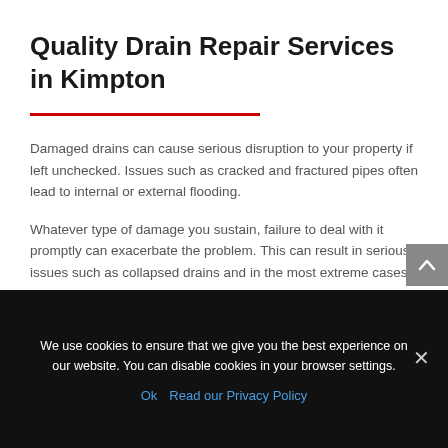Quality Drain Repair Services in Kimpton
Damaged drains can cause serious disruption to your property if left unchecked. Issues such as cracked and fractured pipes often lead to internal or external flooding.
Whatever type of damage you sustain, failure to deal with it promptly can exacerbate the problem. This can result in serious issues such as collapsed drains and in the most extreme cases structural damage.
We use cookies to ensure that we give you the best experience on our website. You can disable cookies in your browser settings. Ok  Read our Privacy Policy